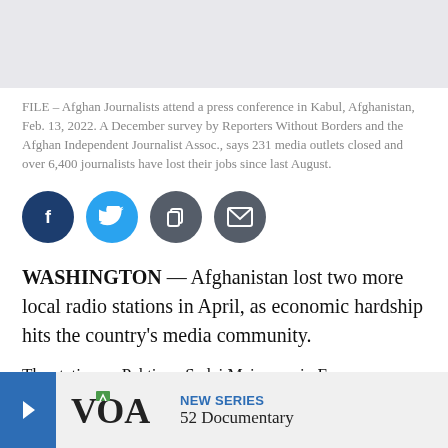[Figure (photo): File photo placeholder — Afghan journalists at a press conference in Kabul]
FILE – Afghan Journalists attend a press conference in Kabul, Afghanistan, Feb. 13, 2022. A December survey by Reporters Without Borders and the Afghan Independent Journalist Assoc., says 231 media outlets closed and over 6,400 journalists have lost their jobs since last August.
[Figure (infographic): Social media share buttons: Facebook, Twitter, Copy, Email]
WASHINGTON — Afghanistan lost two more local radio stations in April, as economic hardship hits the country's media community.
The stations – Paktia… Sadai Maimana, in Fa… constraints in announ…
[Figure (logo): VOA logo with NEW SERIES / 52 Documentary overlay banner]